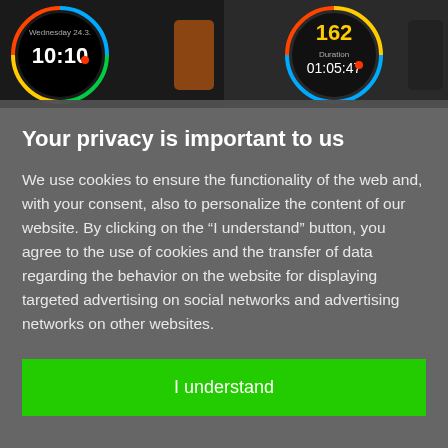[Figure (photo): Top portion showing two smartwatches on dark background. Left watch shows time 10:10 with Wednesday 24.3. date. Right watch shows 162 with duration 01:05:47.]
Your privacy is important to us
We use cookies to ensure the functionality of the web and, with your consent, also to personalize the content of our website. By clicking on the “I understand” button, you agree to the use of cookies and the transfer of data regarding the behavior on the website for displaying targeted advertising on social networks and advertising networks on other websites.
I understand
Detailed settings